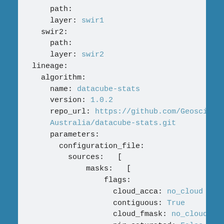path:
    layer: swir1
swir2:
  path:
  layer: swir2
lineage:
  algorithm:
    name: datacube-stats
    version: 1.0.2
    repo_url: https://github.com/GeoscienceAustralia/datacube-stats.git
    parameters:
      configuration_file:
        sources:  [
            masks:  [
                flags:
                  cloud_acca: no_cloud
                  contiguous: True
                  cloud_fmask: no_cloud
                  nir_saturated: False